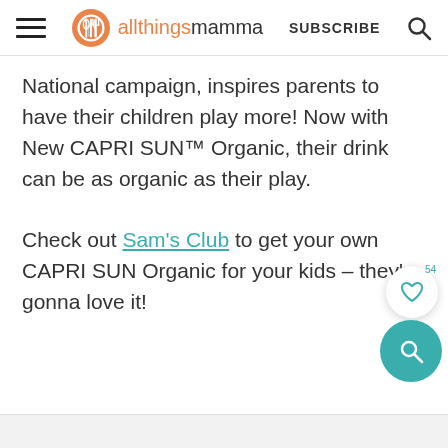allthingsmamma — SUBSCRIBE
National campaign, inspires parents to have their children play more! Now with New CAPRI SUN™ Organic, their drink can be as organic as their play.
Check out Sam's Club to get your own CAPRI SUN Organic for your kids – they're gonna love it!